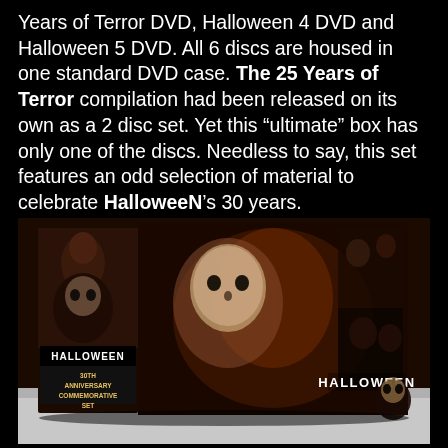Years of Terror DVD, Halloween 4 DVD and Halloween 5 DVD. All 6 discs are housed in one standard DVD case. The 25 Years of Terror compilation had been released on its own as a 2 disc set. Yet this “Ultimate” box has only one of the discs. Needless to say, this set features an odd selection of material to celebrate HalloweeN’s 30 years.
[Figure (photo): Photo of the Halloween 30th Anniversary Commemorative Set DVD box set, showing the front and spine of the box packaging featuring Michael Myers and other Halloween imagery, with text reading HALLOWEEN 30TH ANNIVERSARY COMMEMORATIVE SET on the spine and HALLOWEEN on the front.]